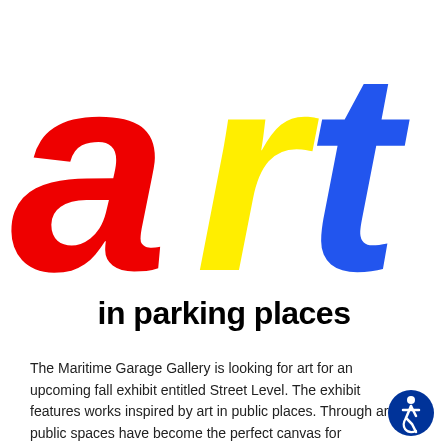[Figure (illustration): Large stylized text 'art' in primary colors: red 'a', yellow 'r', blue 't' on white background, forming the logo for 'art in parking places']
in parking places
The Maritime Garage Gallery is looking for art for an upcoming fall exhibit entitled Street Level. The exhibit features works inspired by art in public places. Through art, public spaces have become the perfect canvas for many artists around the world, transforming walls, buildings, and